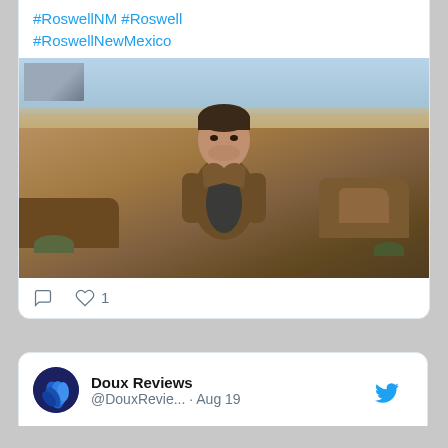#RoswellNM #Roswell #RoswellNewMexico
[Figure (photo): A man in a brown jacket standing outdoors in a desert landscape with rocky terrain and sandy hills in the background.]
♡  ♡ 1
Doux Reviews @DouxRevie... · Aug 19
Westworld: Que Será, Será (review by Logan Cox)
douxreviews.com/2022/08/westwo...